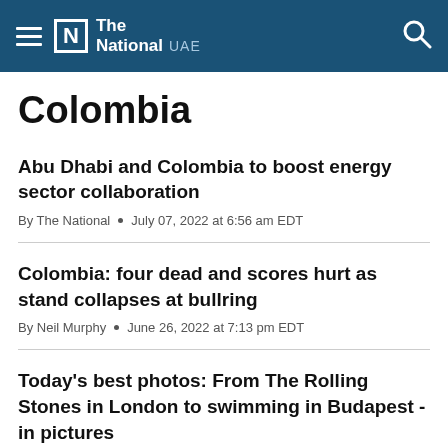The National UAE
Colombia
Abu Dhabi and Colombia to boost energy sector collaboration
By The National • July 07, 2022 at 6:56 am EDT
Colombia: four dead and scores hurt as stand collapses at bullring
By Neil Murphy • June 26, 2022 at 7:13 pm EDT
Today's best photos: From The Rolling Stones in London to swimming in Budapest - in pictures